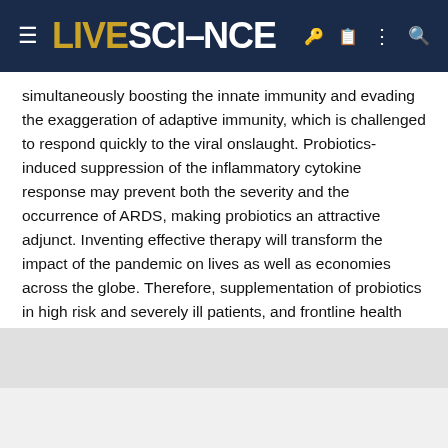LIVESCIENCE
simultaneously boosting the innate immunity and evading the exaggeration of adaptive immunity, which is challenged to respond quickly to the viral onslaught. Probiotics-induced suppression of the inflammatory cytokine response may prevent both the severity and the occurrence of ARDS, making probiotics an attractive adjunct. Inventing effective therapy will transform the impact of the pandemic on lives as well as economies across the globe. Therefore, supplementation of probiotics in high risk and severely ill patients, and frontline health workers, might limit the infection and flatten the COVID-19 curve. However, currently, there are no RCTs to demonstrate conclusive evidence. On the other hand, circumstantial evidence has supported the presumption that probiotic supplementation decreases the severity of COVID-19 responses, including mortality."